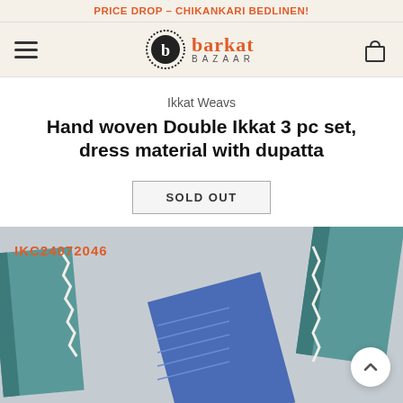PRICE DROP - CHIKANKARI BEDLINEN!
[Figure (logo): Barkat Bazaar logo with circular emblem and stylized text]
Ikkat Weavs
Hand woven Double Ikkat 3 pc set, dress material with dupatta
SOLD OUT
[Figure (photo): Product photo showing hand woven double ikkat fabric pieces in blue and teal colors on grey background, with SKU label IKC24072046 in orange text]